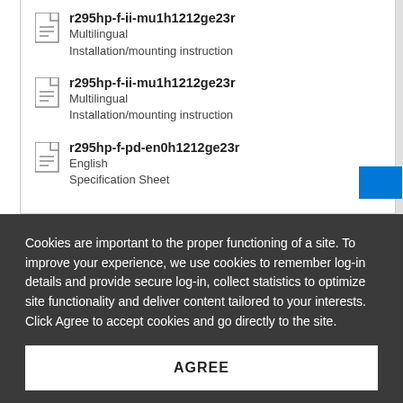r295hp-f-ii-mu1h1212ge23r
Multilingual
Installation/mounting instruction
r295hp-f-ii-mu1h1212ge23r
Multilingual
Installation/mounting instruction
r295hp-f-pd-en0h1212ge23r
English
Specification Sheet
Cookies are important to the proper functioning of a site. To improve your experience, we use cookies to remember log-in details and provide secure log-in, collect statistics to optimize site functionality and deliver content tailored to your interests. Click Agree to accept cookies and go directly to the site.
AGREE